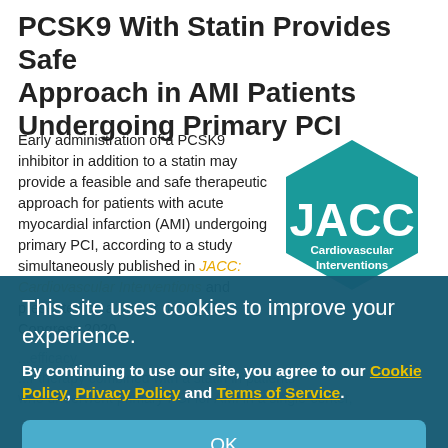PCSK9 With Statin Provides Safe Approach in AMI Patients Undergoing Primary PCI
Early administration of a PCSK9 inhibitor in addition to a statin may provide a feasible and safe therapeutic approach for patients with acute myocardial infarction (AMI) undergoing primary PCI, according to a study simultaneously published in JACC: Cardiovascular Interventions and presented as a poster during ESC Congress 2020.
[Figure (logo): JACC Cardiovascular Interventions hexagonal teal logo]
...efficacy ...r therapy combined with a statin in patients who underwent primary PCI for AMI in a single-center, retrospective observational study of ...
This site uses cookies to improve your experience.
By continuing to use our site, you agree to our Cookie Policy, Privacy Policy and Terms of Service.
OK
received pitavastatin (2 mg/day). Of the 103 patients. So...